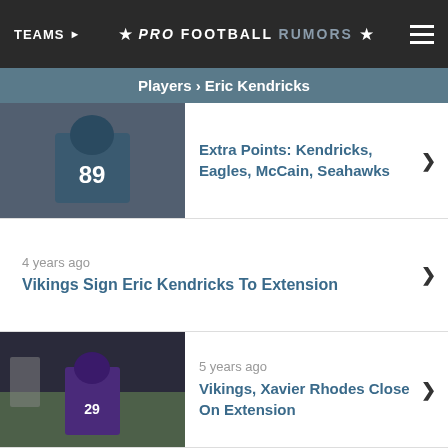TEAMS ★ PRO FOOTBALL RUMORS ★
Players › Eric Kendricks
Extra Points: Kendricks, Eagles, McCain, Seahawks
4 years ago
Vikings Sign Eric Kendricks To Extension
5 years ago
Vikings, Xavier Rhodes Close On Extension
6 years ago
North Notes: Vikings, Pettigrew, Browns
ADVERTISEMENT
ADVERTISEMENT